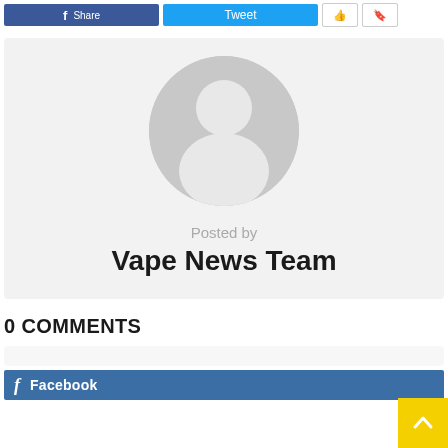[Figure (other): Top social sharing buttons: Facebook (blue), Twitter (cyan), and two small icon buttons]
[Figure (other): Author card with gray background, default avatar (gray circle with silhouette), 'Posted by' label, and author name 'Vape News Team']
Posted by
Vape News Team
0 COMMENTS
[Figure (other): Comment section area with light gray background and Facebook comment bar showing Facebook logo and 'Facebook' text]